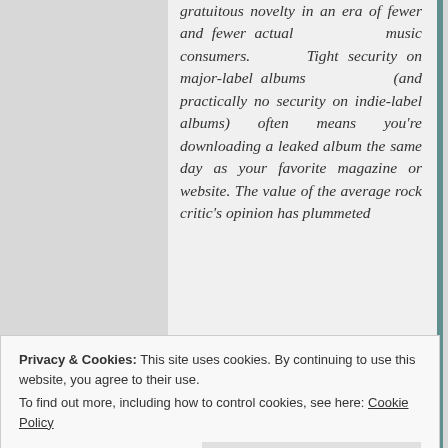gratuitous novelty in an era of fewer and fewer actual music consumers. Tight security on major-label albums (and practically no security on indie-label albums) often means you're downloading a leaked album the same day as your favorite magazine or website. The value of the average rock critic's opinion has plummeted
Privacy & Cookies: This site uses cookies. By continuing to use this website, you agree to their use. To find out more, including how to control cookies, see here: Cookie Policy
listen and decide for yourself whether it's